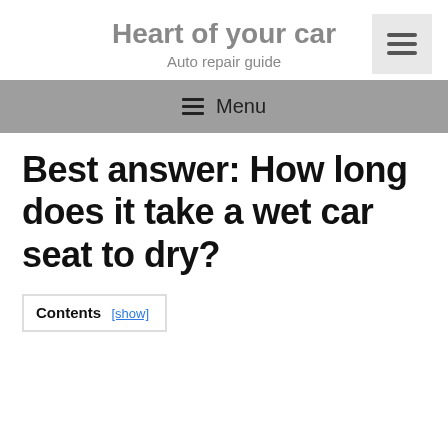Heart of your car
Auto repair guide
≡ Menu
Best answer: How long does it take a wet car seat to dry?
Contents [show]